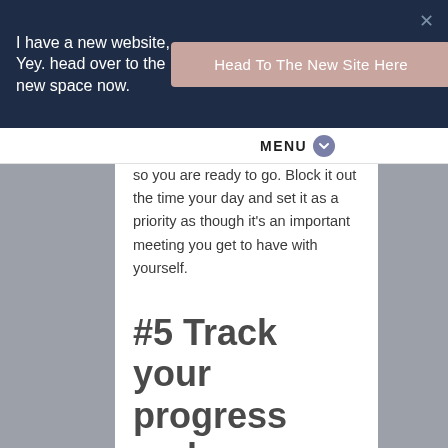I have a new website, Yey. head over to the new space now.
Head To The New Site Here
MENU
so you are ready to go. Block it out the time your day and set it as a priority as though it's an important meeting you get to have with yourself.
#5 Track your progress and build in a reward